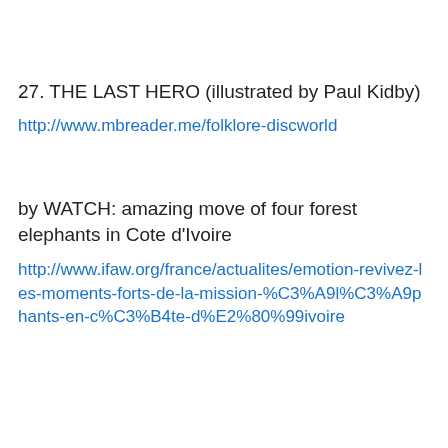27. THE LAST HERO (illustrated by Paul Kidby)
http://www.mbreader.me/folklore-discworld
by WATCH: amazing move of four forest elephants in Cote d'Ivoire
http://www.ifaw.org/france/actualites/emotion-revivez-les-moments-forts-de-la-mission-%C3%A9l%C3%A9phants-en-c%C3%B4te-d%E2%80%99ivoire